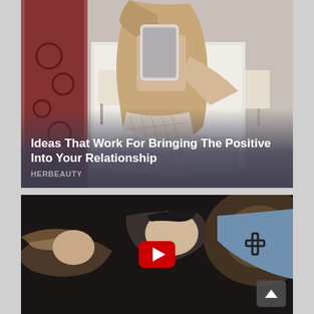[Figure (photo): Top card: woman taking a selfie in a bedroom, holding phone in front of face, wearing white mesh/lace top, with white headboard and curtains in background. Overlay text at bottom shows article title and source.]
Ideas That Work For Bringing The Positive Into Your Relationship
HERBEAUTY
[Figure (photo): Bottom card: video thumbnail showing a man and woman in an intimate scene, man has a cross tattoo on his upper arm, YouTube-style red play button overlay in center, dark moody lighting. Up arrow button in bottom right corner.]